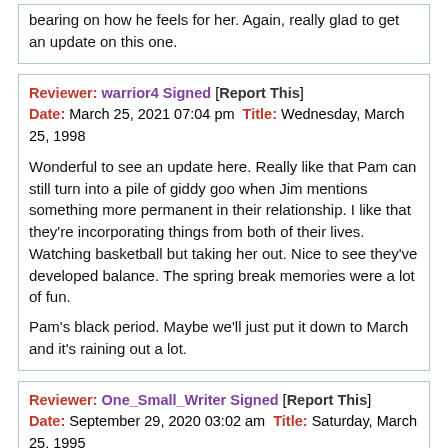bearing on how he feels for her. Again, really glad to get an update on this one.
Reviewer: warrior4 Signed [Report This] Date: March 25, 2021 07:04 pm Title: Wednesday, March 25, 1998

Wonderful to see an update here. Really like that Pam can still turn into a pile of giddy goo when Jim mentions something more permanent in their relationship. I like that they're incorporating things from both of their lives. Watching basketball but taking her out. Nice to see they've developed balance. The spring break memories were a lot of fun.

Pam's black period. Maybe we'll just put it down to March and it's raining out a lot.
Reviewer: One_Small_Writer Signed [Report This] Date: September 29, 2020 03:02 am Title: Saturday, March 25, 1995

This is such a mood, journals hold so much. I can't even imagine some of the stuff that are in my old ones. I too have had journals for a long time, since 5th grade, and holy moley...